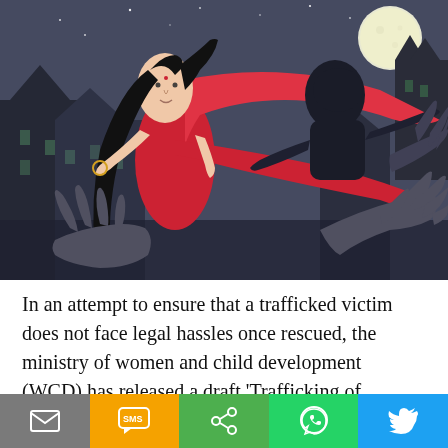[Figure (illustration): Illustration of a woman in a red saree running, with dark shadowy hands reaching toward her and a sinister dark figure lurking behind. Full moon visible in the upper right. Dark castle/building silhouettes in the background. Style is stylized animation art.]
In an attempt to ensure that a trafficked victim does not face legal hassles once rescued, the ministry of women and child development (WCD) has released a draft 'Trafficking of